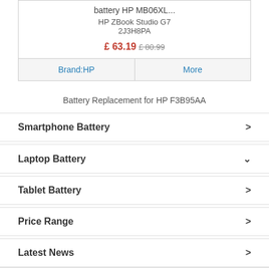battery HP MB06XL...
HP ZBook Studio G7 2J3H8PA
£ 63.19 £ 80.99
Brand:HP | More
Battery Replacement for HP F3B95AA
Smartphone Battery
Laptop Battery
Tablet Battery
Price Range
Latest News
Android How to Create Digital Limitation